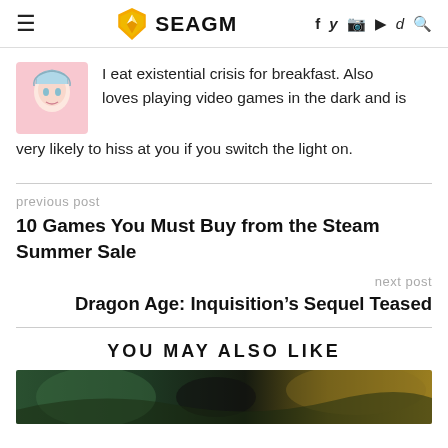SEAGM
I eat existential crisis for breakfast. Also loves playing video games in the dark and is very likely to hiss at you if you switch the light on.
previous post
10 Games You Must Buy from the Steam Summer Sale
next post
Dragon Age: Inquisition's Sequel Teased
YOU MAY ALSO LIKE
[Figure (photo): Bottom portion of a featured article image, showing a dark fantasy or action game scene with green and gold tones]